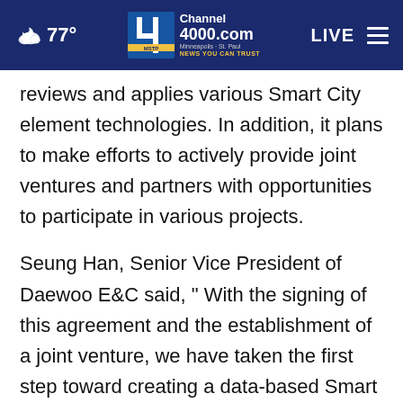77° Channel 4000.com Minneapolis · St. Paul NEWS YOU CAN TRUST LIVE
reviews and applies various Smart City element technologies. In addition, it plans to make efforts to actively provide joint ventures and partners with opportunities to participate in various projects.
Seung Han, Senior Vice President of Daewoo E&C said, " With the signing of this agreement and the establishment of a joint venture, we have taken the first step toward creating a data-based Smart City beyond the Smart City